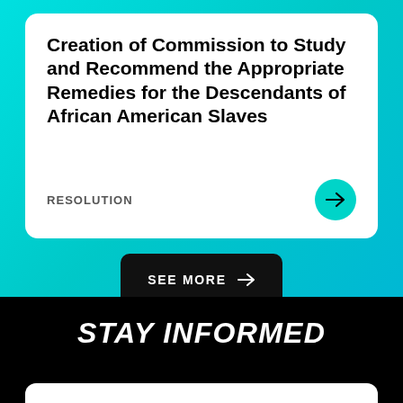Creation of Commission to Study and Recommend the Appropriate Remedies for the Descendants of African American Slaves
RESOLUTION
SEE MORE →
STAY INFORMED